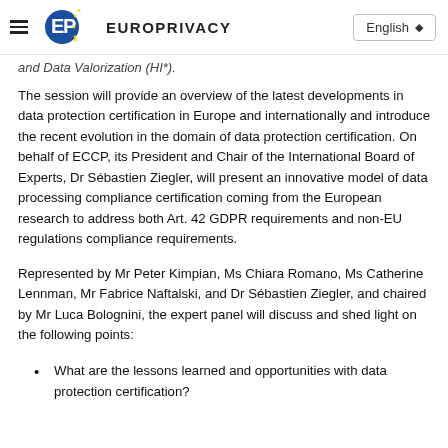EUROPRIVACY | English
and Data Valorization (HI*).
The session will provide an overview of the latest developments in data protection certification in Europe and internationally and introduce the recent evolution in the domain of data protection certification. On behalf of ECCP, its President and Chair of the International Board of Experts, Dr Sébastien Ziegler, will present an innovative model of data processing compliance certification coming from the European research to address both Art. 42 GDPR requirements and non-EU regulations compliance requirements.
Represented by Mr Peter Kimpian, Ms Chiara Romano, Ms Catherine Lennman, Mr Fabrice Naftalski, and Dr Sébastien Ziegler, and chaired by Mr Luca Bolognini, the expert panel will discuss and shed light on the following points:
What are the lessons learned and opportunities with data protection certification?